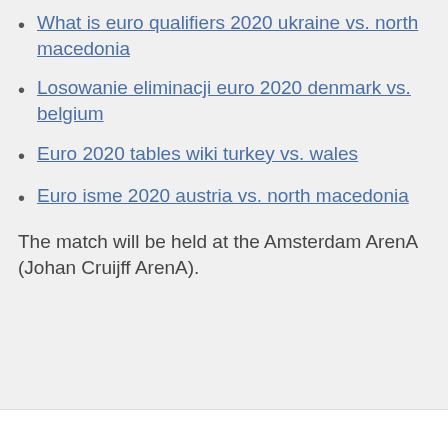What is euro qualifiers 2020 ukraine vs. north macedonia
Losowanie eliminacji euro 2020 denmark vs. belgium
Euro 2020 tables wiki turkey vs. wales
Euro isme 2020 austria vs. north macedonia
The match will be held at the Amsterdam ArenA (Johan Cruijff ArenA).